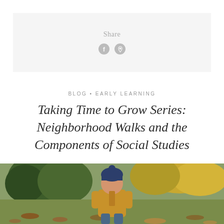[Figure (other): Share box with social media icons (Facebook and Pinterest) on a light gray background]
BLOG • EARLY LEARNING
Taking Time to Grow Series: Neighborhood Walks and the Components of Social Studies
[Figure (photo): A young child wearing a dark navy knit pompom hat and a tan/yellow jacket walking through fallen autumn leaves in a park with trees in background]